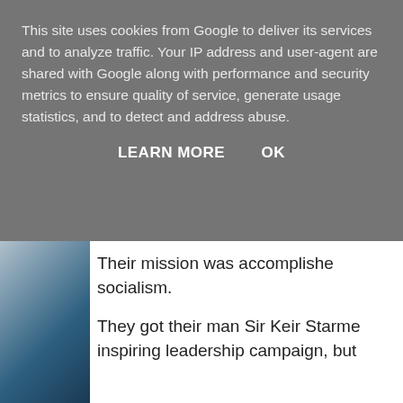This site uses cookies from Google to deliver its services and to analyze traffic. Your IP address and user-agent are shared with Google along with performance and security metrics to ensure quality of service, generate usage statistics, and to detect and address abuse.
LEARN MORE   OK
[Figure (photo): Partial view of a person in a blue jacket, visible on the left side of the content area]
Their mission was accomplished socialism.
They got their man Sir Keir Starme inspiring leadership campaign, but